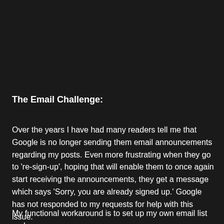The Email Challenge:
Over the years I have had many readers tell me that Google is no longer sending them email announcements regarding my posts. Even more frustrating when they go to 're-sign-up', hoping that will enable them to once again start receiving the announcements, they get a message which says 'Sorry, you are already signed up.' Google has not responded to my requests for help with this issue.
My functional workaround is to set up my own email list and